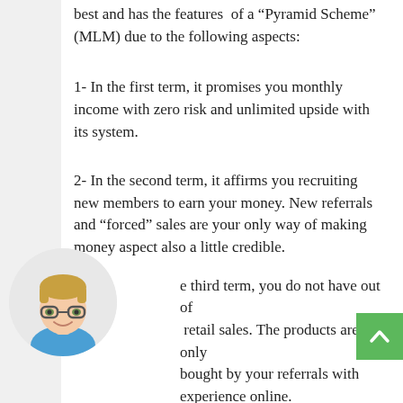best and has the features of a “Pyramid Scheme” (MLM) due to the following aspects:
1- In the first term, it promises you monthly income with zero risk and unlimited upside with its system.
2- In the second term, it affirms you recruiting new members to earn your money. New referrals and “forced” sales are your only way of making money aspect also a little credible.
[Figure (illustration): Avatar illustration of a young man with glasses and blue shirt, circular crop]
3- In the third term, you do not have out of retail sales. The products are only bought by your referrals with experience online.